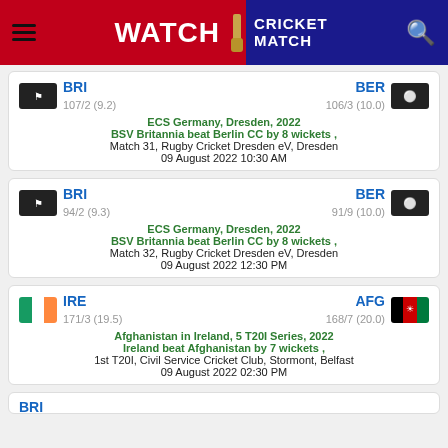WATCH CRICKET MATCH
BRI 107/2 (9.2) | BER 106/3 (10.0)
ECS Germany, Dresden, 2022
BSV Britannia beat Berlin CC by 8 wickets ,
Match 31, Rugby Cricket Dresden eV, Dresden
09 August 2022 10:30 AM
BRI 94/2 (9.3) | BER 91/9 (10.0)
ECS Germany, Dresden, 2022
BSV Britannia beat Berlin CC by 8 wickets ,
Match 32, Rugby Cricket Dresden eV, Dresden
09 August 2022 12:30 PM
IRE 171/3 (19.5) | AFG 168/7 (20.0)
Afghanistan in Ireland, 5 T20I Series, 2022
Ireland beat Afghanistan by 7 wickets ,
1st T20I, Civil Service Cricket Club, Stormont, Belfast
09 August 2022 02:30 PM
BRI